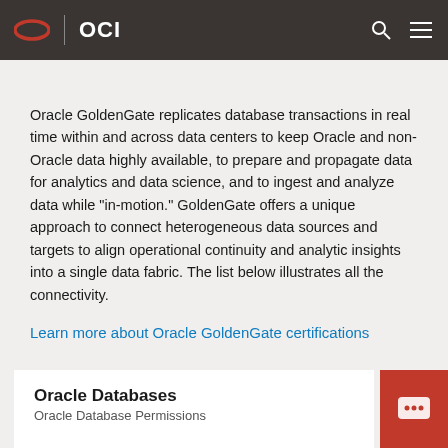OCI
Oracle GoldenGate replicates database transactions in real time within and across data centers to keep Oracle and non-Oracle data highly available, to prepare and propagate data for analytics and data science, and to ingest and analyze data while “in-motion.” GoldenGate offers a unique approach to connect heterogeneous data sources and targets to align operational continuity and analytic insights into a single data fabric. The list below illustrates all the connectivity.
Learn more about Oracle GoldenGate certifications
Oracle Databases